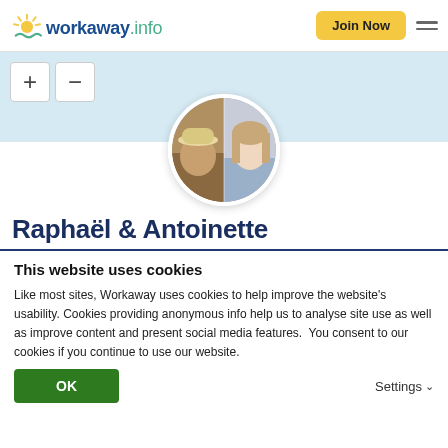workaway.info — Join Now navigation
[Figure (screenshot): Map area with zoom + and - buttons on light blue background]
[Figure (photo): Circular profile photo split between two people: left half shows a person in a hat outdoors, right half shows a young woman with light hair]
Raphaël & Antoinette
This website uses cookies
Like most sites, Workaway uses cookies to help improve the website's usability. Cookies providing anonymous info help us to analyse site use as well as improve content and present social media features.  You consent to our cookies if you continue to use our website.
OK
Settings